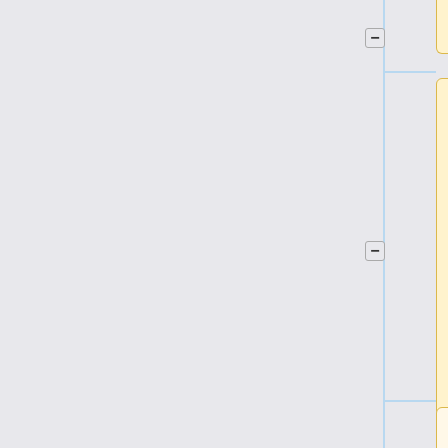| Link to PLA Java interface."']]
| Link to PLA Java interface."']]
One should click on "Sky maps" and then open the "Effective beams" area.
#Once the PLA interface is loaded go to '"Sky maps"';
There is the possibility to either retrieve one beam nearest to the input source (name or coordinates), or to retrieve a set of beams in a grid defined by the Nside and the size of the region around a
[[File:PLALink.png| 1200px | thumb | |center |'"PLA java interface."']]